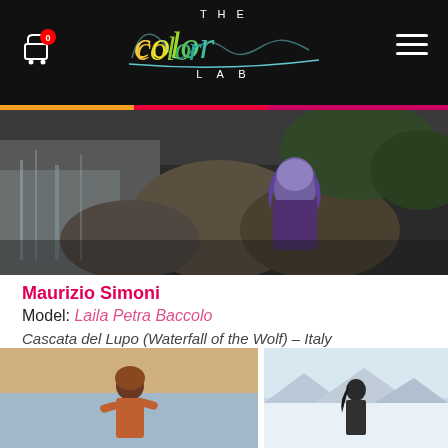[Figure (screenshot): Website header for 'The Color Lab' — black background with colorful cursive logo, shopping cart icon with red badge showing '0', and hamburger menu icon. A colored stripe (yellow, red, magenta) runs along the bottom edge of the header.]
[Figure (photo): Landscape photo showing rocky waterfall scene with a woman with colorful (purple/blue) hair among the rocks.]
Maurizio Simoni
Model: Laila Petra Baccolo
Cascata del Lupo (Waterfall of the Wolf) – Italy
[Figure (photo): Photo of woman in winter/outdoor setting, partially visible at bottom left.]
[Figure (photo): Photo of person in snowy landscape with mountains, partially visible at bottom right.]